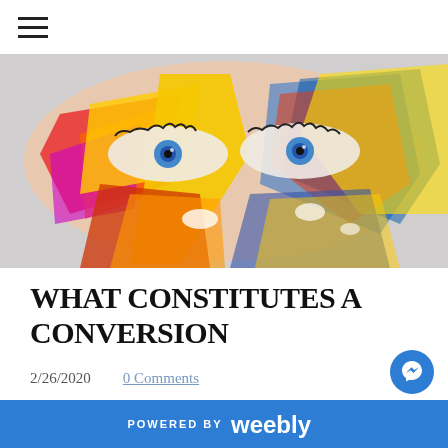[Figure (photo): Hero banner image of a woman's face with colorful paint/artistic overlay, showing blue eyes and vibrant multicolored patterns covering her face and hands]
WHAT CONSTITUTES A CONVERSION
2/26/2020     0 Comments
[Figure (photo): Partial view of a second blog post image, mostly dark/grayscale, cropped at bottom]
POWERED BY weebly